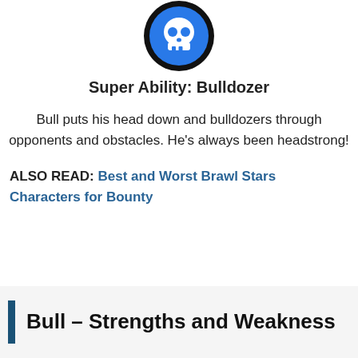[Figure (logo): Brawl Stars skull icon — white skull on blue circle with black border]
Super Ability: Bulldozer
Bull puts his head down and bulldozers through opponents and obstacles. He’s always been headstrong!
ALSO READ: Best and Worst Brawl Stars Characters for Bounty
Bull – Strengths and Weakness